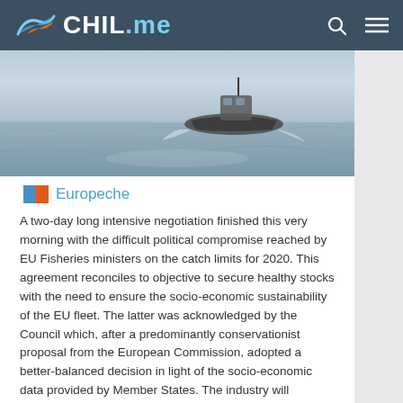CHIL.me
[Figure (photo): A fishing boat on water, hero image at top of article]
Europeche
A two-day long intensive negotiation finished this very morning with the difficult political compromise reached by EU Fisheries ministers on the catch limits for 2020. This agreement reconciles to objective to secure healthy stocks with the need to ensure the socio-economic sustainability of the EU fleet. The latter was acknowledged by the Council which, after a predominantly conservationist proposal from the European Commission, adopted a better-balanced decision in light of the socio-economic data provided by Member States. The industry will however face many challenges for next year due to the extreme quota reductions and restrictive measures adopted for key species such as cod in all EU waters.
Press 2019